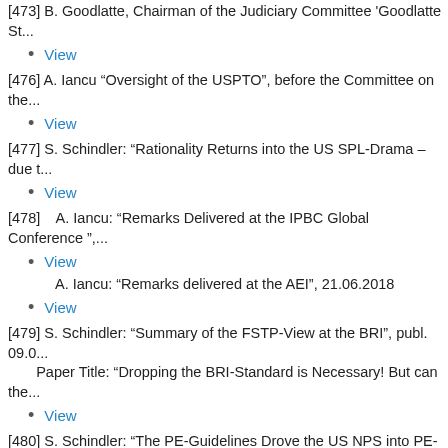[473] B. Goodlatte, Chairman of the Judiciary Committee 'Goodlatte St...
View
[476] A. Iancu “Oversight of the USPTO”, before the Committee on the...
View
[477] S. Schindler: “Rationality Returns into the US SPL-Drama – due t...
View
[478]    A. Iancu: “Remarks Delivered at the IPBC Global Conference ”,...
View
A. Iancu: “Remarks delivered at the AEI”, 21.06.2018
View
[479] S. Schindler: “Summary of the FSTP-View at the BRI”, publ. 09.0...
Paper Title: "Dropping the BRI-Standard is Necessary! But can the...
View
[480] S. Schindler: "The PE-Guidelines Drove the US NPS into PE-Mis...
Paper Title: "A Fresh Look at the USPTO's PE-Guidance - by And...